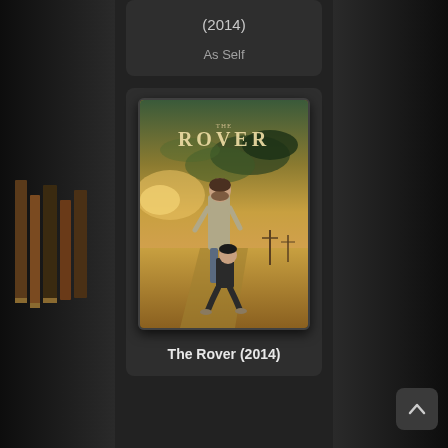(2014)
As Self
[Figure (photo): Movie poster for The Rover (2014) showing two characters — a bearded man standing and a younger man crouching — in an arid desert landscape with dramatic sky. Title 'THE ROVER' displayed at the top.]
The Rover (2014)